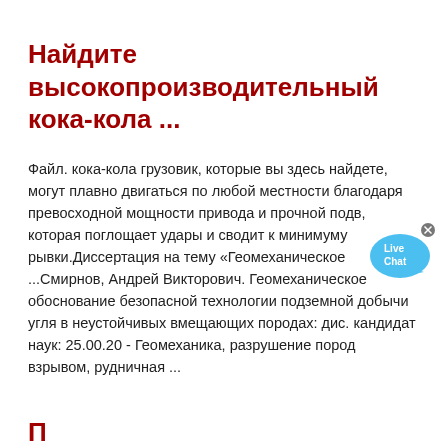Найдите высокопроизводительный кока-кола ...
Файл. кока-кола грузовик, которые вы здесь найдете, могут плавно двигаться по любой местности благодаря превосходной мощности привода и прочной подв, которая поглощает удары и сводит к минимуму рывки.Диссертация на тему «Геомеханическое ...Смирнов, Андрей Викторович. Геомеханическое обоснование безопасной технологии подземной добычи угля в неустойчивых вмещающих породах: дис. кандидат наук: 25.00.20 - Геомеханика, разрушение пород взрывом, рудничная ...
П...